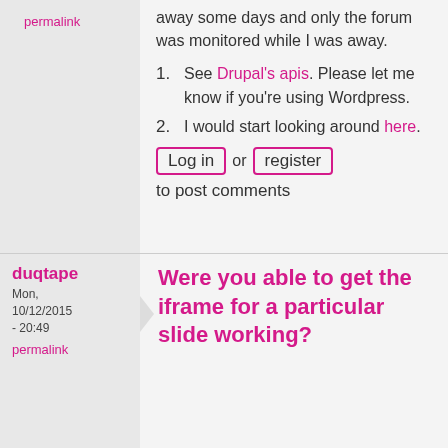away some days and only the forum was monitored while I was away.
See Drupal's apis. Please let me know if you're using Wordpress.
I would start looking around here.
Log in or register to post comments
permalink
duqtape
Mon, 10/12/2015 - 20:49
permalink
Were you able to get the iframe for a particular slide working?